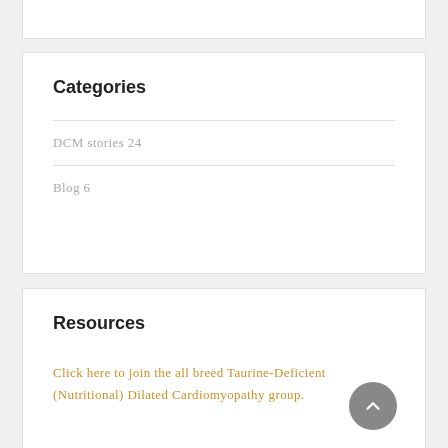Categories
DCM stories 24
Blog 6
Resources
Click here to join the all breed Taurine-Deficient (Nutritional) Dilated Cardiomyopathy group.